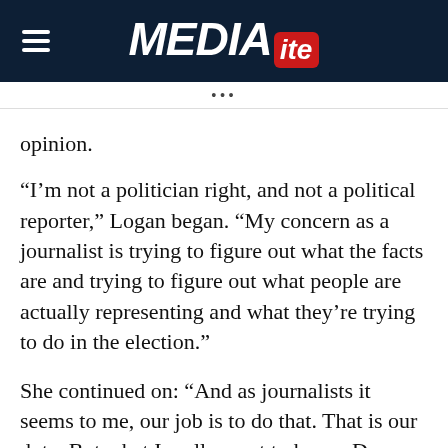MEDIAITE
opinion.
“I’m not a politician right, and not a political reporter,” Logan began. “My concern as a journalist is trying to figure out what the facts are and trying to figure out what people are actually representing and what they’re trying to do in the election.”
She continued on: “And as journalists it seems to me, our job is to do that. That is our duty. But what I really want to know, Don Lemon, Chris Cuomo, are they opinion hosts? Are these opinion shows or news programs? That is a important distinction. And people tell me, American people, that is a hot the…